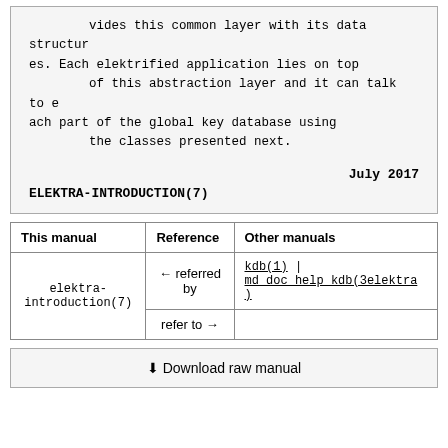vides this common layer with its data structures. Each elektrified application lies on top of this abstraction layer and it can talk to each part of the global key database using the classes presented next.
July 2017
ELEKTRA-INTRODUCTION(7)
| This manual | Reference | Other manuals |
| --- | --- | --- |
| elektra-introduction(7) | ← referred by | kdb(1) | md_doc_help_kdb(3elektra) |
|  | refer to → |  |
⬇ Download raw manual